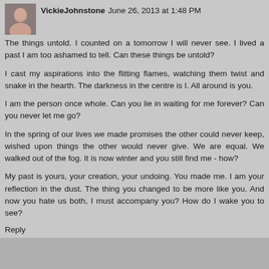VickieJohnstone June 26, 2013 at 1:48 PM
The things untold. I counted on a tomorrow I will never see. I lived a past I am too ashamed to tell. Can these things be untold?
I cast my aspirations into the flitting flames, watching them twist and snake in the hearth. The darkness in the centre is I. All around is you.
I am the person once whole. Can you lie in waiting for me forever? Can you never let me go?
In the spring of our lives we made promises the other could never keep, wished upon things the other would never give. We are equal. We walked out of the fog. It is now winter and you still find me - how?
My past is yours, your creation, your undoing. You made me. I am your reflection in the dust. The thing you changed to be more like you. And now you hate us both, I must accompany you? How do I wake you to see?
Reply